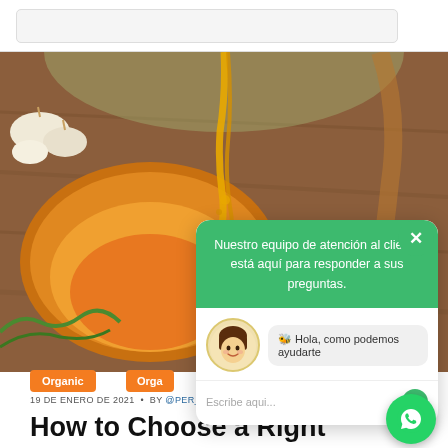[Figure (screenshot): Top navigation/search bar area of a website, white background with a rounded search input box]
[Figure (photo): Close-up food photograph showing a wooden bowl with golden honey drizzling, orange/yellow squash or papaya, and garlic cloves on a wooden board background]
Organic
Orga
19 DE ENERO DE 2021 • BY @PER_2022FRESH
How to Choose a Right
[Figure (screenshot): Customer support chat popup overlay with green header saying 'Nuestro equipo de atención al cliente está aquí para responder a sus preguntas.' with a chatbot avatar and greeting 'Hola, como podemos ayudarte' and an input field 'Escribe aqui...']
[Figure (screenshot): WhatsApp floating action button (green circle with WhatsApp icon) at bottom right]